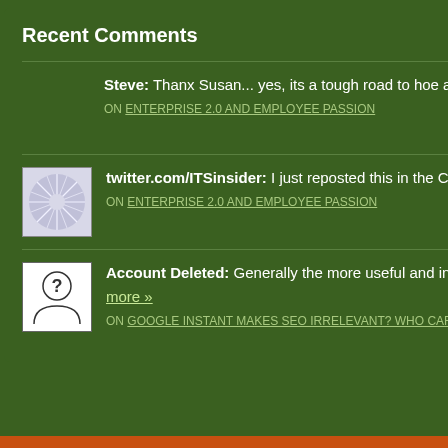Recent Comments
Steve: Thanx Susan... yes, its a tough road to hoe and... | more »
ON ENTERPRISE 2.0 AND EMPLOYEE PASSION
twitter.com/ITSinsider: I just reposted this in the Council. The human... | more »
ON ENTERPRISE 2.0 AND EMPLOYEE PASSION
Account Deleted: Generally the more useful and interesting conte... more »
ON GOOGLE INSTANT MAKES SEO IRRELEVANT? WHO CARES?